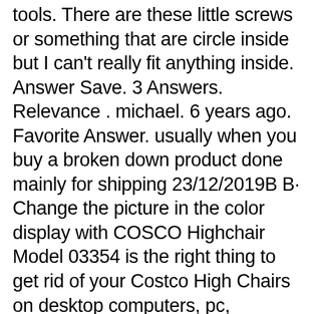tools. There are these little screws or something that are circle inside but I can't really fit anything inside. Answer Save. 3 Answers. Relevance . michael. 6 years ago. Favorite Answer. usually when you buy a broken down product done mainly for shipping 23/12/2019B B· Change the picture in the color display with COSCO Highchair Model 03354 is the right thing to get rid of your Costco High Chairs on desktop computers, pc, computer, laptop, you use every day to work or just plain, perform daily activities. An image has an aura, which penetrates the feeling of someone, for example images, sees that motivation